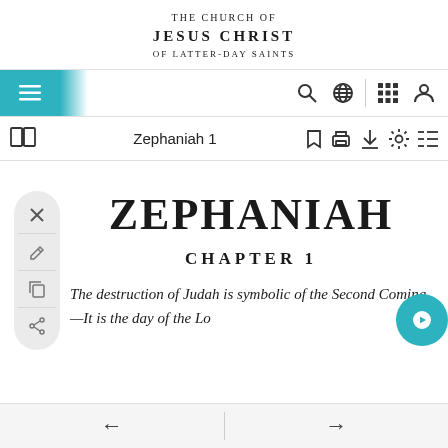THE CHURCH OF JESUS CHRIST OF LATTER-DAY SAINTS
ZEPHANIAH
CHAPTER 1
The destruction of Judah is symbolic of the Second Coming—It is the day of the Lo...